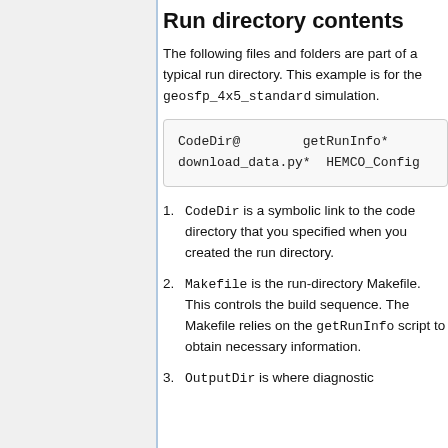Run directory contents
The following files and folders are part of a typical run directory. This example is for the geosfp_4x5_standard simulation.
CodeDir@    getRunInfo*
download_data.py*  HEMCO_Config
CodeDir is a symbolic link to the code directory that you specified when you created the run directory.
Makefile is the run-directory Makefile. This controls the build sequence. The Makefile relies on the getRunInfo script to obtain necessary information.
OutputDir is where diagnostic